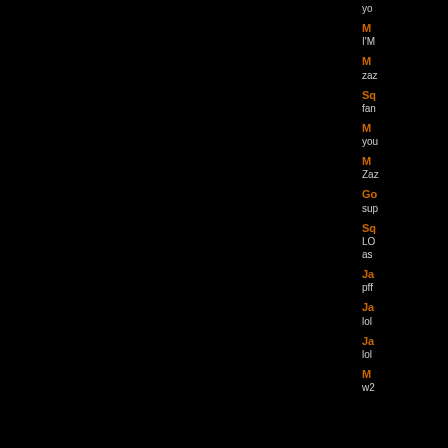yo
M
I'M
M
zaz
Sq
fan
M
you
M
Zaz
Go
sup
Sq
LO
as
Ja
pff
Ja
lol
Ja
lol
M
w2